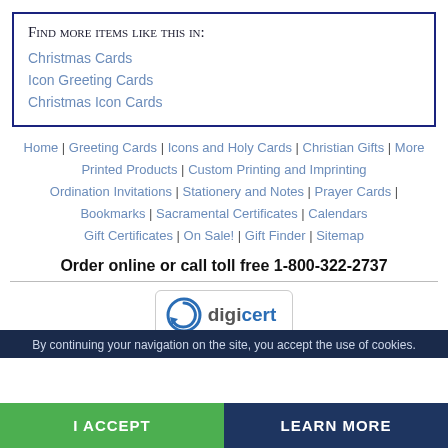Find more items like this in:
Christmas Cards
Icon Greeting Cards
Christmas Icon Cards
Home | Greeting Cards | Icons and Holy Cards | Christian Gifts | More Printed Products | Custom Printing and Imprinting | Ordination Invitations | Stationery and Notes | Prayer Cards | Bookmarks | Sacramental Certificates | Calendars | Gift Certificates | On Sale! | Gift Finder | Sitemap
Order online or call toll free 1-800-322-2737
[Figure (logo): DigiCert badge logo with circular arrow icon and 'digicert' text in blue and grey]
By continuing your navigation on the site, you accept the use of cookies.
I ACCEPT
LEARN MORE